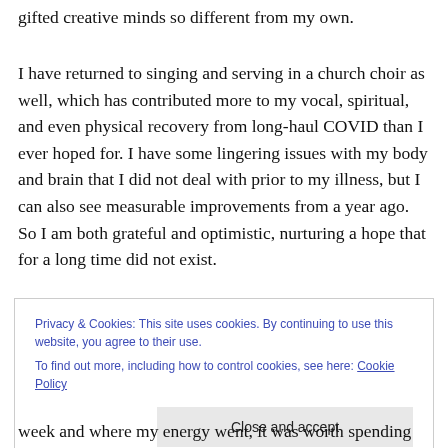gifted creative minds so different from my own.
I have returned to singing and serving in a church choir as well, which has contributed more to my vocal, spiritual, and even physical recovery from long-haul COVID than I ever hoped for. I have some lingering issues with my body and brain that I did not deal with prior to my illness, but I can also see measurable improvements from a year ago. So I am both grateful and optimistic, nurturing a hope that for a long time did not exist.
Privacy & Cookies: This site uses cookies. By continuing to use this website, you agree to their use.
To find out more, including how to control cookies, see here: Cookie Policy
Close and accept
week and where my energy went, it was worth spending